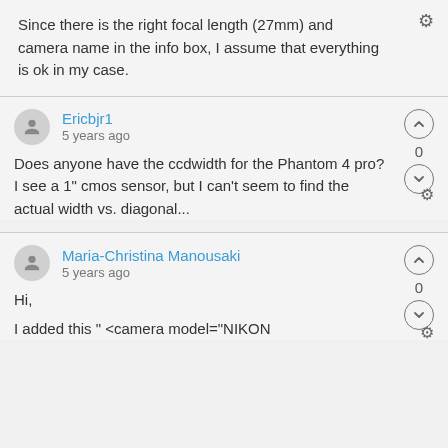Since there is the right focal length (27mm) and camera name in the info box, I assume that everything is ok in my case.
Ericbjr1
5 years ago
Does anyone have the ccdwidth for the Phantom 4 pro? I see a 1" cmos sensor, but I can't seem to find the actual width vs. diagonal...
Maria-Christina Manousaki
5 years ago
Hi,
I added this " <camera model="NIKON